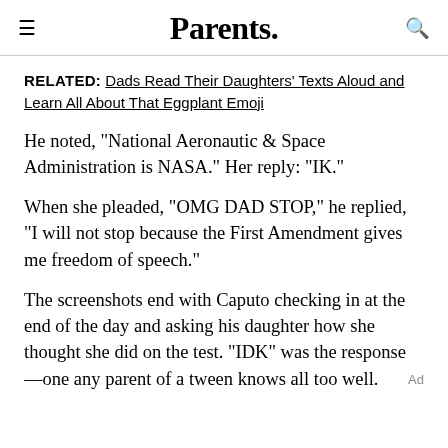Parents.
RELATED: Dads Read Their Daughters' Texts Aloud and Learn All About That Eggplant Emoji
He noted, "National Aeronautic & Space Administration is NASA." Her reply: "IK."
When she pleaded, "OMG DAD STOP," he replied, "I will not stop because the First Amendment gives me freedom of speech."
The screenshots end with Caputo checking in at the end of the day and asking his daughter how she thought she did on the test. "IDK" was the response—one any parent of a tween knows all too well.